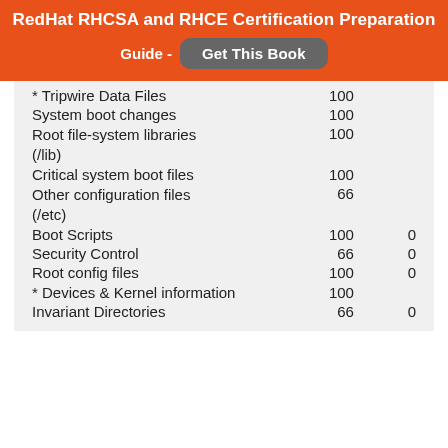RedHat RHCSA and RHCE Certification Preparation Guide - Get This Book
| Item | Col1 | Col2 |
| --- | --- | --- |
| * Tripwire Data Files | 100 |  |
| System boot changes | 100 |  |
| Root file-system libraries (/lib) | 100 |  |
| Critical system boot files | 100 |  |
| Other configuration files (/etc) | 66 |  |
| Boot Scripts | 100 | 0 |
| Security Control | 66 | 0 |
| Root config files | 100 | 0 |
| * Devices & Kernel information | 100 |  |
| Invariant Directories | 66 | 0 |